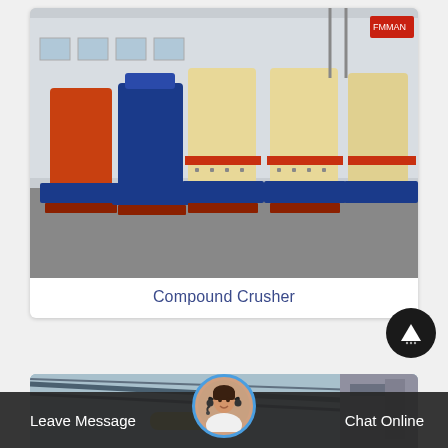[Figure (photo): Outdoor factory yard with multiple compound crusher machines lined up. Machines have orange-red, blue, and cream/beige cylindrical bodies on blue steel frames/bases. Industrial building visible in background.]
Compound Crusher
[Figure (photo): Partial view of an industrial facility interior showing roof trusses and pipes.]
Leave Message
Chat Online